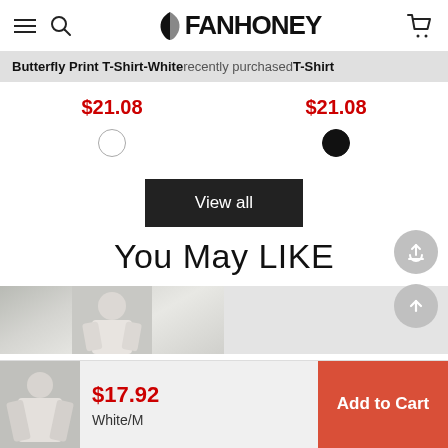FANHONEY
Butterfly Print T-Shirt-White recently purchased T-Shirt
$21.08
$21.08
[Figure (other): White color swatch circle (unfilled)]
[Figure (other): Black color swatch circle (filled)]
View all
You May LIKE
[Figure (photo): Product image of a person wearing a white T-shirt, partial view]
$17.92
White/M
Add to Cart